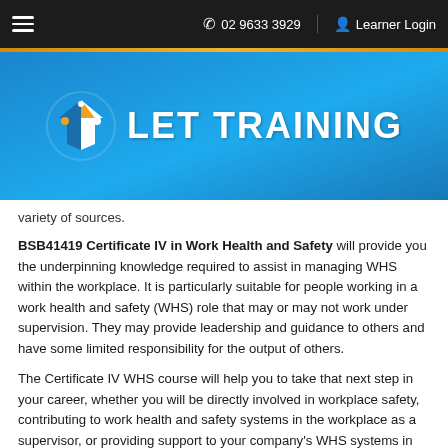☰   ✆ 02 9633 3929   👤 Learner Login
[Figure (logo): LET TRAINING logo — stylized shield/arrow icon in orange and blue beside bold white text 'LET TRAINING' on blue gradient background]
[...] variety of sources.
BSB41419 Certificate IV in Work Health and Safety will provide you the underpinning knowledge required to assist in managing WHS within the workplace. It is particularly suitable for people working in a work health and safety (WHS) role that may or may not work under supervision. They may provide leadership and guidance to others and have some limited responsibility for the output of others.
The Certificate IV WHS course will help you to take that next step in your career, whether you will be directly involved in workplace safety, contributing to work health and safety systems in the workplace as a supervisor, or providing support to your company's WHS systems in general. Skills include organising workload, analysing information